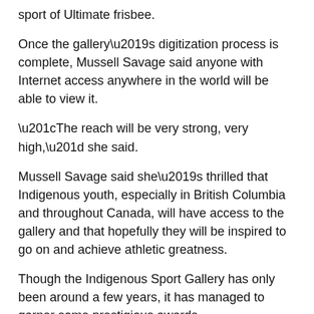sport of Ultimate frisbee.
Once the gallery's digitization process is complete, Mussell Savage said anyone with Internet access anywhere in the world will be able to view it.
“The reach will be very strong, very high,” she said.
Mussell Savage said she’s thrilled that Indigenous youth, especially in British Columbia and throughout Canada, will have access to the gallery and that hopefully they will be inspired to go on and achieve athletic greatness.
Though the Indigenous Sport Gallery has only been around a few years, it has managed to garner some prestigious awards.
It was the winner of the 2019 Canadian Museums Association Award of Outstanding Achievement in the Exhibitions category.